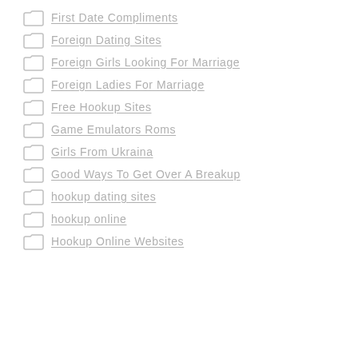First Date Compliments
Foreign Dating Sites
Foreign Girls Looking For Marriage
Foreign Ladies For Marriage
Free Hookup Sites
Game Emulators Roms
Girls From Ukraina
Good Ways To Get Over A Breakup
hookup dating sites
hookup online
Hookup Online Websites